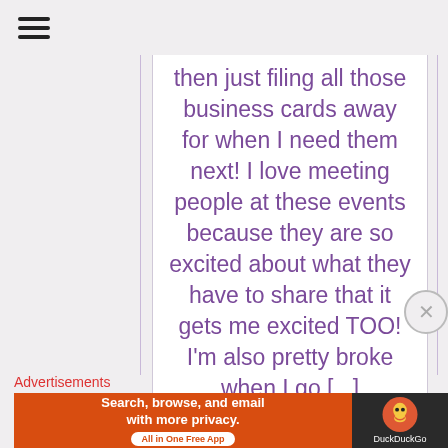then just filing all those business cards away for when I need them next! I love meeting people at these events because they are so excited about what they have to share that it gets me excited TOO! I'm also pretty broke when I go [...]
MORE
Advertisements
[Figure (screenshot): DuckDuckGo advertisement banner: orange section with text 'Search, browse, and email with more privacy. All in One Free App' and dark section with DuckDuckGo duck logo and brand name]